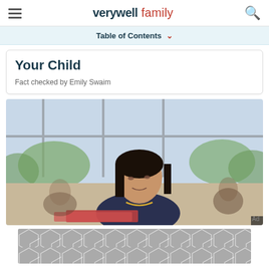verywell family
Table of Contents ∨
Your Child
Fact checked by Emily Swaim
[Figure (photo): A young girl of Asian descent sitting at a desk in a classroom, looking contemplative, with large windows and blurred background figures behind her.]
[Figure (other): Gray geometric hexagon/diamond pattern advertisement banner.]